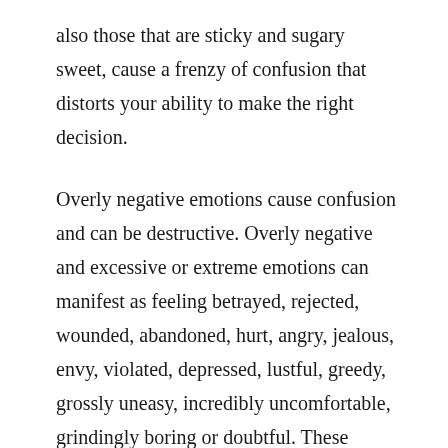also those that are sticky and sugary sweet, cause a frenzy of confusion that distorts your ability to make the right decision.
Overly negative emotions cause confusion and can be destructive. Overly negative and excessive or extreme emotions can manifest as feeling betrayed, rejected, wounded, abandoned, hurt, angry, jealous, envy, violated, depressed, lustful, greedy, grossly uneasy, incredibly uncomfortable, grindingly boring or doubtful. These emotions can be hell. They're black and murky, and their darkness will blind you and your ability to make the best decision.
Overly positive emotions create a frenzy of energy, which can also be destructive. These emotions are